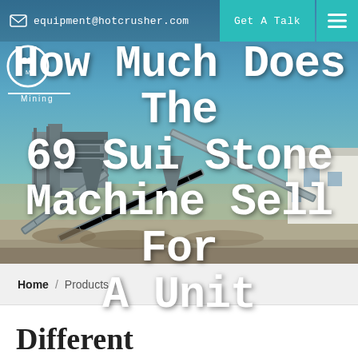equipment@hotcrusher.com | Get A Talk
[Figure (photo): Industrial stone crushing machinery and conveyor belts at a mining site under a blue sky. Multiple large conveyor belt systems are visible with industrial equipment and buildings in the background.]
How Much Does The 69 Sui Stone Machine Sell For A Unit
Home / Products
Different Machines To Meet All